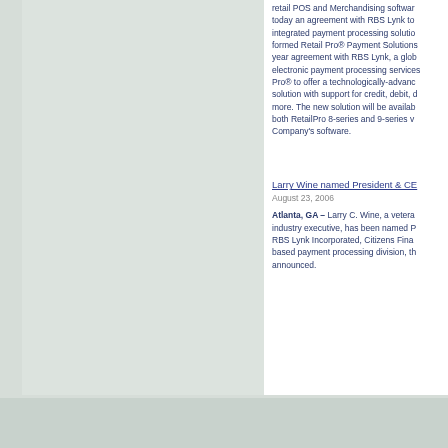retail POS and Merchandising software today an agreement with RBS Lynk to integrated payment processing solution formed Retail Pro® Payment Solutions year agreement with RBS Lynk, a glob electronic payment processing service Pro® to offer a technologically-advand solution with support for credit, debit, more. The new solution will be availab both RetailPro 8-series and 9-series v Company's software.
Larry Wine named President & CE
August 23, 2006
Atlanta, GA – Larry C. Wine, a vetera industry executive, has been named P RBS Lynk Incorporated, Citizens Fina based payment processing division, th announced.